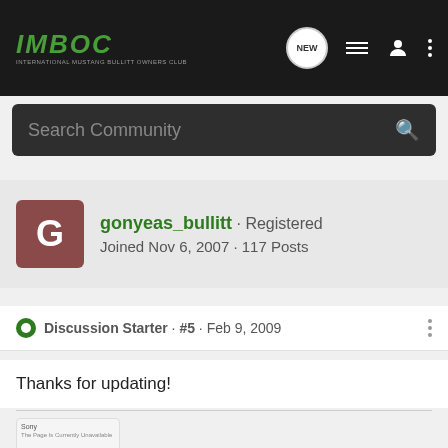[Figure (screenshot): IMBOC forum navigation bar with logo, new message bubble, list icon, user icon, and vertical dots menu]
Search Community
gonyeas_bullitt · Registered
Joined Nov 6, 2007 · 117 Posts
Discussion Starter · #5 · Feb 9, 2009
Thanks for updating!
[Figure (screenshot): Small thumbnail preview of a forum post]